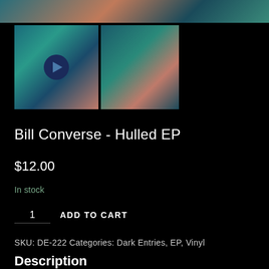[Figure (photo): Top banner image with abstract teal and salmon colored swirling pattern]
[Figure (photo): Two album art thumbnails side by side: left shows abstract teal/blue watery pattern with a dark circular play button overlay, right shows similar abstract teal/salmon pattern]
Bill Converse - Hulled EP
$12.00
In stock
1   ADD TO CART
SKU: DE-222  Categories: Dark Entries, EP, Vinyl
Description